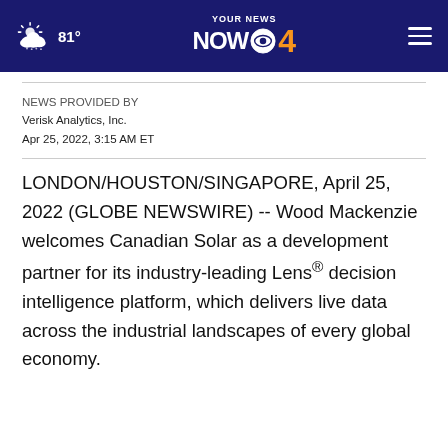81° YOUR NEWS NOW 4
NEWS PROVIDED BY
Verisk Analytics, Inc.
Apr 25, 2022, 3:15 AM ET
LONDON/HOUSTON/SINGAPORE, April 25, 2022 (GLOBE NEWSWIRE) -- Wood Mackenzie welcomes Canadian Solar as a development partner for its industry-leading Lens® decision intelligence platform, which delivers live data across the industrial landscapes of every global economy.